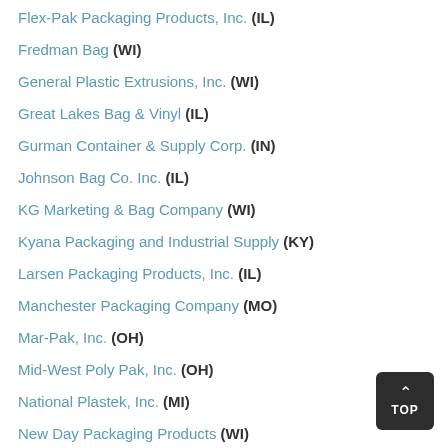Flex-Pak Packaging Products, Inc. (IL)
Fredman Bag (WI)
General Plastic Extrusions, Inc. (WI)
Great Lakes Bag & Vinyl (IL)
Gurman Container & Supply Corp. (IN)
Johnson Bag Co. Inc. (IL)
KG Marketing & Bag Company (WI)
Kyana Packaging and Industrial Supply (KY)
Larsen Packaging Products, Inc. (IL)
Manchester Packaging Company (MO)
Mar-Pak, Inc. (OH)
Mid-West Poly Pak, Inc. (OH)
National Plastek, Inc. (MI)
New Day Packaging Products (WI)
New Tech Plastics, Inc. (OH)